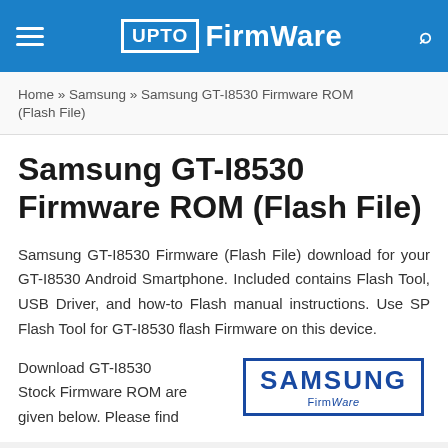UPTO Firmware
Home » Samsung » Samsung GT-I8530 Firmware ROM (Flash File)
Samsung GT-I8530 Firmware ROM (Flash File)
Samsung GT-I8530 Firmware (Flash File) download for your GT-I8530 Android Smartphone. Included contains Flash Tool, USB Driver, and how-to Flash manual instructions. Use SP Flash Tool for GT-I8530 flash Firmware on this device.
Download GT-I8530 Stock Firmware ROM are given below. Please find
[Figure (logo): Samsung logo with blue wordmark and box border]